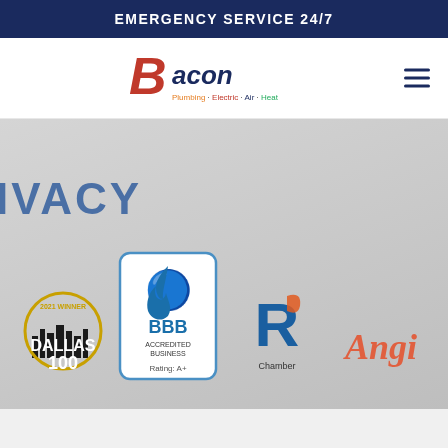EMERGENCY SERVICE 24/7
[Figure (logo): Bacon Home Services logo with stylized B and colorful text reading Bacon with subtext Plumbing · Electric · Air · Heat]
IVACY
[Figure (infographic): Four trust badges: Dallas 100 2021 Winner award badge, BBB Accredited Business Rating A+ badge, R Chamber logo, and Angi logo]